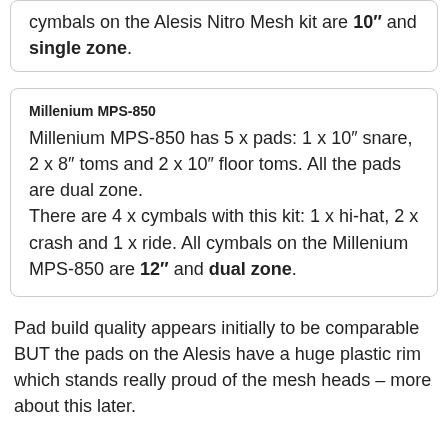cymbals on the Alesis Nitro Mesh kit are 10″ and single zone.
Millenium MPS-850
Millenium MPS-850 has 5 x pads: 1 x 10″ snare, 2 x 8″ toms and 2 x 10″ floor toms. All the pads are dual zone.
There are 4 x cymbals with this kit: 1 x hi-hat, 2 x crash and 1 x ride. All cymbals on the Millenium MPS-850 are 12″ and dual zone.
Pad build quality appears initially to be comparable BUT the pads on the Alesis have a huge plastic rim which stands really proud of the mesh heads – more about this later.